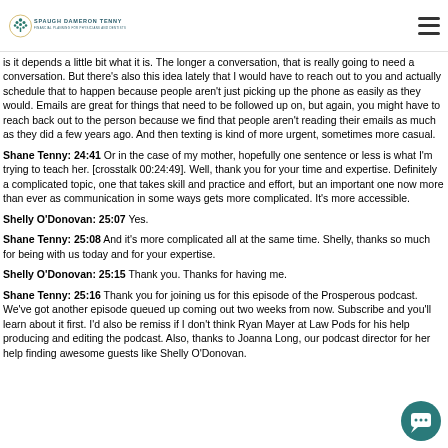Spaugh Dameron Tenny – Financial Planning for Physicians and Dentists
is it depends a little bit what it is. The longer a conversation, that is really going to need a conversation. But there's also this idea lately that I would have to reach out to you and actually schedule that to happen because people aren't just picking up the phone as easily as they would. Emails are great for things that need to be followed up on, but again, you might have to reach back out to the person because we find that people aren't reading their emails as much as they did a few years ago. And then texting is kind of more urgent, sometimes more casual.
Shane Tenny: 24:41 Or in the case of my mother, hopefully one sentence or less is what I'm trying to teach her. [crosstalk 00:24:49]. Well, thank you for your time and expertise. Definitely a complicated topic, one that takes skill and practice and effort, but an important one now more than ever as communication in some ways gets more complicated. It's more accessible.
Shelly O'Donovan: 25:07 Yes.
Shane Tenny: 25:08 And it's more complicated all at the same time. Shelly, thanks so much for being with us today and for your expertise.
Shelly O'Donovan: 25:15 Thank you. Thanks for having me.
Shane Tenny: 25:16 Thank you for joining us for this episode of the Prosperous podcast. We've got another episode queued up coming out two weeks from now. Subscribe and you'll learn about it first. I'd also be remiss if I don't think Ryan Mayer at Law Pods for his help producing and editing the podcast. Also, thanks to Joanna Long, our podcast director for her help finding awesome guests like Shelly O'Donovan.